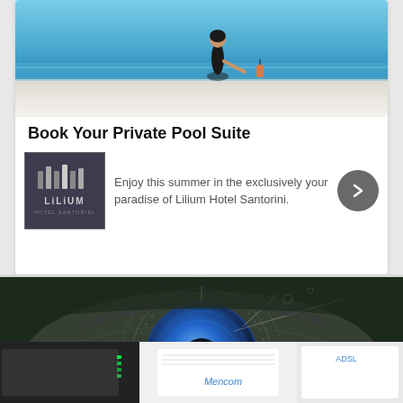[Figure (photo): Woman in black swimsuit sitting at edge of infinity pool overlooking blue sea]
Book Your Private Pool Suite
[Figure (logo): Lilium Hotel Santorini logo - white text on dark background]
Enjoy this summer in the exclusively your paradise of Lilium Hotel Santorini.
[Figure (photo): Close-up of a blue human eye with biometric targeting overlay on dark background, with Arabic tag 'الأمن والحماية' and Arabic text 'ماذا تعرف عن النظام البيومتري ( Biometrics )؟']
[Figure (photo): Network routers and modems including Mencom and ADSL devices]